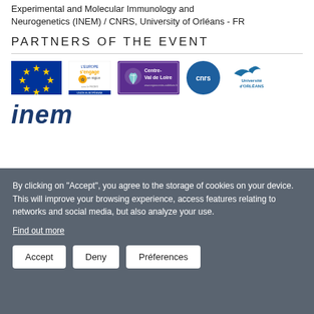Experimental and Molecular Immunology and Neurogenetics (INEM) / CNRS, University of Orléans - FR
PARTNERS OF THE EVENT
[Figure (logo): Partner logos: European Union flag, L'Europe s'engage, Centre-Val de Loire region, CNRS, Université d'Orléans, INEM]
By clicking on "Accept", you agree to the storage of cookies on your device. This will improve your browsing experience, access features relating to networks and social media, but also analyze your use.
Find out more
Accept  Deny  Préferences